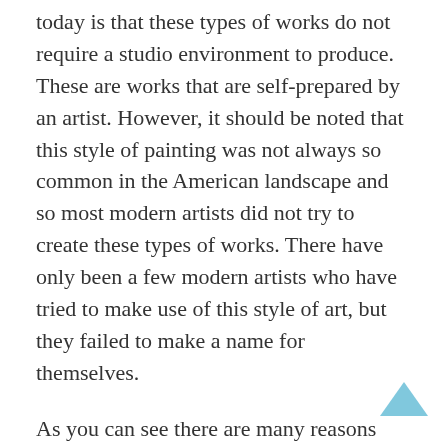today is that these types of works do not require a studio environment to produce. These are works that are self-prepared by an artist. However, it should be noted that this style of painting was not always so common in the American landscape and so most modern artists did not try to create these types of works. There have only been a few modern artists who have tried to make use of this style of art, but they failed to make a name for themselves.
As you can see there are many reasons why the paintings of famous American painters have become popular in modern times. This style of art has been well received by many people. This means that anyone who appreciates fine arts and who likes to have something that is “my own creation” can usually do so when they look at contemporary art paintings. Some of the best-known modern